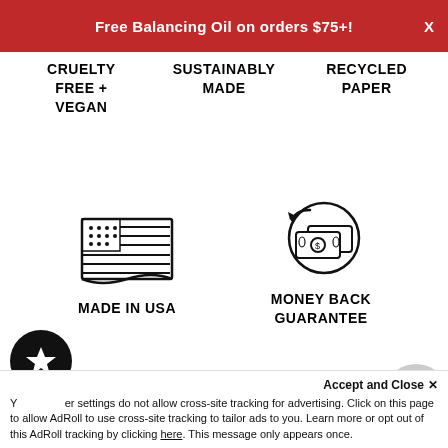Free Balancing Oil on orders $75+!
CRUELTY FREE + VEGAN
SUSTAINABLY MADE
RECYCLED PAPER
[Figure (illustration): American flag icon outline]
MADE IN USA
[Figure (illustration): Money back / cash with refresh arrows icon]
MONEY BACK GUARANTEE
Your browser settings do not allow cross-site tracking for advertising. Click on this page to allow AdRoll to use cross-site tracking to tailor ads to you. Learn more or opt out of this AdRoll tracking by clicking here. This message only appears once.